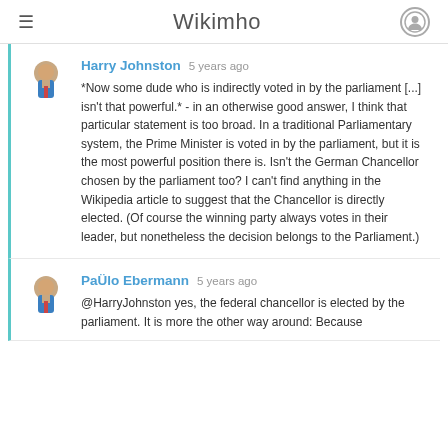Wikimho
Harry Johnston 5 years ago
*Now some dude who is indirectly voted in by the parliament [...] isn't that powerful.* - in an otherwise good answer, I think that particular statement is too broad. In a traditional Parliamentary system, the Prime Minister is voted in by the parliament, but it is the most powerful position there is. Isn't the German Chancellor chosen by the parliament too? I can't find anything in the Wikipedia article to suggest that the Chancellor is directly elected. (Of course the winning party always votes in their leader, but nonetheless the decision belongs to the Parliament.)
PaÜlo Ebermann 5 years ago
@HarryJohnston yes, the federal chancellor is elected by the parliament. It is more the other way around: Because